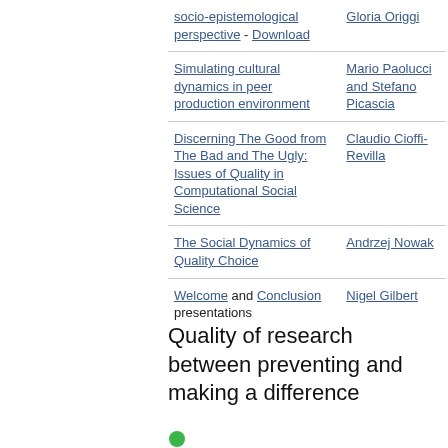| Title | Author |
| --- | --- |
| socio-epistemological perspective - Download | Gloria Origgi |
| Simulating cultural dynamics in peer production environment | Mario Paolucci and Stefano Picascia |
| Discerning The Good from The Bad and The Ugly: Issues of Quality in Computational Social Science | Claudio Cioffi-Revilla |
| The Social Dynamics of Quality Choice | Andrzej Nowak |
| Welcome and Conclusion presentations | Nigel Gilbert |
Quality of research between preventing and making a difference